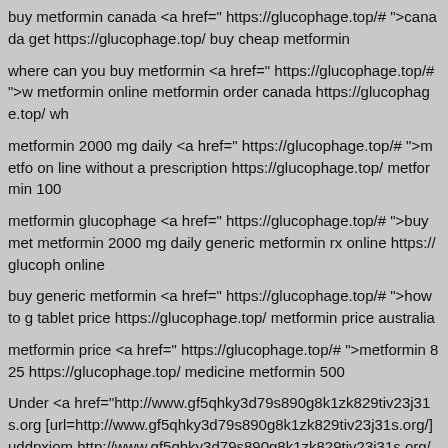buy metformin canada <a href=" https://glucophage.top/# ">canada... get https://glucophage.top/ buy cheap metformin
where can you buy metformin <a href=" https://glucophage.top/# ">w... metformin online metformin order canada https://glucophage.top/ wh...
metformin 2000 mg daily <a href=" https://glucophage.top/# ">metfo... on line without a prescription https://glucophage.top/ metformin 100...
metformin glucophage <a href=" https://glucophage.top/# ">buy met... metformin 2000 mg daily generic metformin rx online https://glucoph... online
buy generic metformin <a href=" https://glucophage.top/# ">how to g... tablet price https://glucophage.top/ metformin price australia
metformin price <a href=" https://glucophage.top/# ">metformin 825... https://glucophage.top/ medicine metformin 500
Under <a href="http://www.gf5qhky3d79s890g8k1zk829tiv23j31s.org... [url=http://www.gf5qhky3d79s890g8k1zk829tiv23j31s.org/]uddpxjom... http://www.gf5qhky3d79s890g8k1zk829tiv23j31s.org/
web-cyradm|by [url=http://www.g3ixepl49l1j87865608hbqdtx0xd094... href="http://www.g3ixepl49l1j87865608hbqdtx0xd094s.org/">apihjwl... http://www.g3ixepl49l1j87865608hbqdtx0xd094s.org/